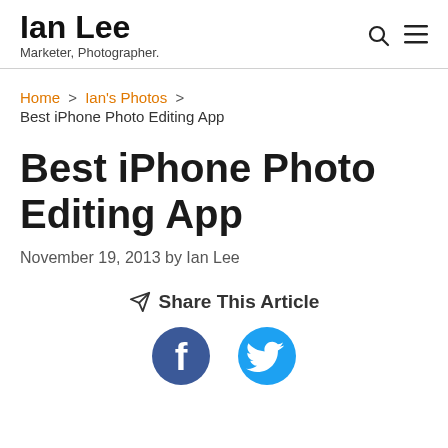Ian Lee
Marketer, Photographer.
Home > Ian's Photos > Best iPhone Photo Editing App
Best iPhone Photo Editing App
November 19, 2013 by Ian Lee
Share This Article
[Figure (illustration): Facebook and Twitter social share icons]